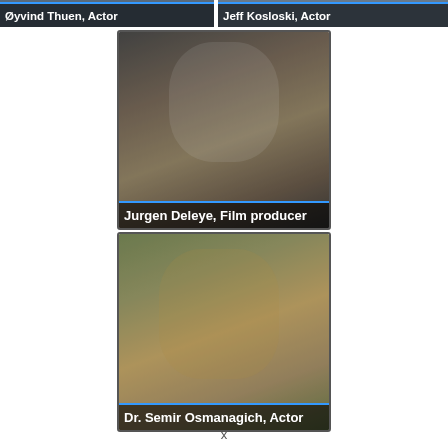[Figure (photo): Cropped top label for Øyvind Thuen, Actor — dark background with blue underline bar]
[Figure (photo): Cropped top label for Jeff Kosloski, Actor — dark background with blue underline bar]
[Figure (photo): Photo of Jurgen Deleye, Film producer — man holding video camera, sitting outdoors, with caption overlay]
[Figure (photo): Photo of Dr. Semir Osmanagich, Actor — man in tan shirt and hat crouching outdoors, with caption overlay]
x